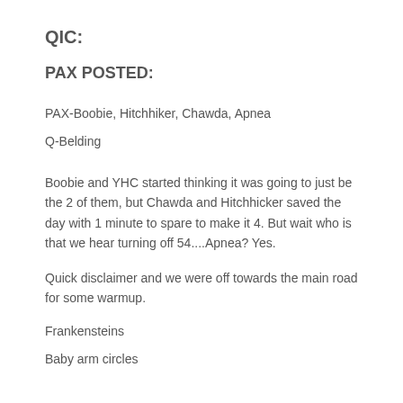QIC:
PAX POSTED:
PAX-Boobie, Hitchhiker, Chawda, Apnea
Q-Belding
Boobie and YHC started thinking it was going to just be the 2 of them, but Chawda and Hitchhicker saved the day with 1 minute to spare to make it 4. But wait who is that we hear turning off 54....Apnea?  Yes.
Quick disclaimer and we were off towards the main road for some warmup.
Frankensteins
Baby arm circles